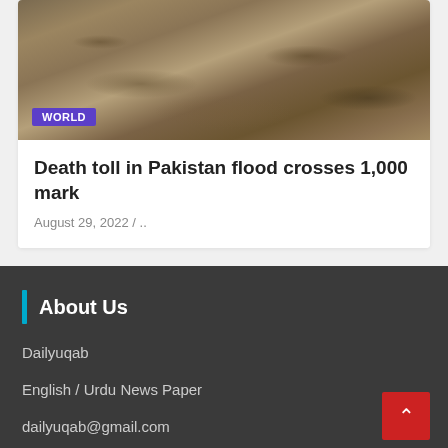[Figure (photo): Muddy flood water rushing, with a purple 'WORLD' badge overlay in bottom-left corner of image]
Death toll in Pakistan flood crosses 1,000 mark
August 29, 2022 / ..
About Us
Dailyuqab
English / Urdu News Paper
dailyuqab@gmail.com
The Bund Srinagar Kashmir-190001
Archive